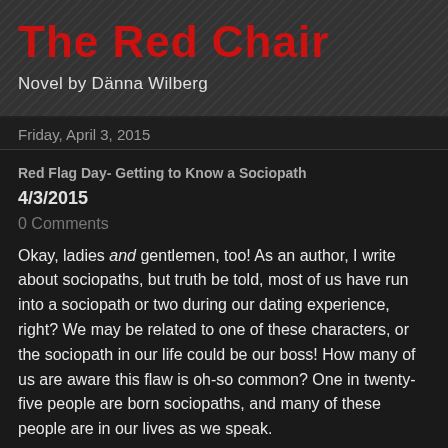The Red Chair
Novel by Dänna Wilberg
Friday, April 3, 2015
Red Flag Day- Getting to Know a Sociopath
4/3/2015
0 Comments
Okay, ladies and gentlemen, too! As an author, I write about sociopaths, but truth be told, most of us have run into a sociopath or two during our dating experience, right? We may be related to one of these characters, or the sociopath in our life could be our boss! How many of us are aware this flaw is oh-so common? One in twenty-five people are born sociopaths, and many of these people are in our lives as we speak.